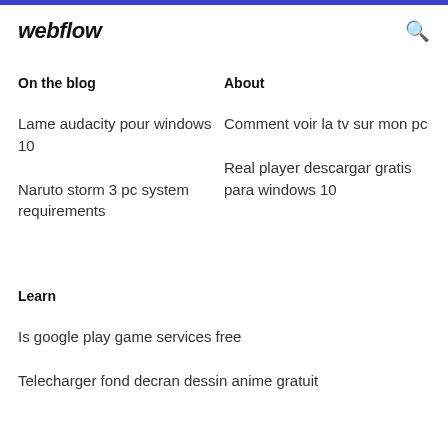webflow
On the blog
About
Lame audacity pour windows 10
Comment voir la tv sur mon pc
Naruto storm 3 pc system requirements
Real player descargar gratis para windows 10
Learn
Is google play game services free
Telecharger fond decran dessin anime gratuit